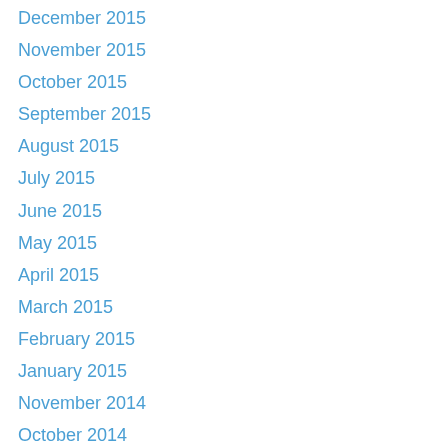December 2015
November 2015
October 2015
September 2015
August 2015
July 2015
June 2015
May 2015
April 2015
March 2015
February 2015
January 2015
November 2014
October 2014
September 2014
August 2014
December 2013
August 2013
July 2013
June 2013